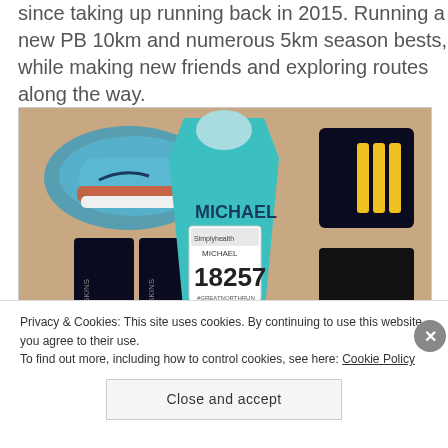since taking up running back in 2015. Running a new PB 10km and numerous 5km season bests, while making new friends and exploring routes along the way.
[Figure (photo): Flat lay of running gear including blue Nike running shoes, a teal RNIB running vest with name MICHAEL, a race bib showing number 18257 from Simplyhealth Great North Run, black SKINS compression sleeves, and black Adidas shorts with yellow stripes.]
Privacy & Cookies: This site uses cookies. By continuing to use this website, you agree to their use.
To find out more, including how to control cookies, see here: Cookie Policy
Close and accept